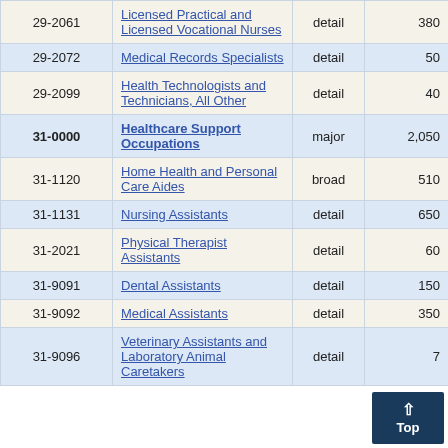| Code | Occupation | Level | Employment | (truncated col) |
| --- | --- | --- | --- | --- |
| 29-2061 | Licensed Practical and Licensed Vocational Nurses | detail | 380 | 4 |
| 29-2072 | Medical Records Specialists | detail | 50 | 8 |
| 29-2099 | Health Technologists and Technicians, All Other | detail | 40 | 20 |
| 31-0000 | Healthcare Support Occupations | major | 2,050 | 2 |
| 31-1120 | Home Health and Personal Care Aides | broad | 510 | 5 |
| 31-1131 | Nursing Assistants | detail | 650 | 5 |
| 31-2021 | Physical Therapist Assistants | detail | 60 | 7 |
| 31-9091 | Dental Assistants | detail | 150 | 7 |
| 31-9092 | Medical Assistants | detail | 350 | 6 |
| 31-9096 | Veterinary Assistants and Laboratory Animal Caretakers | detail | 7 |  |